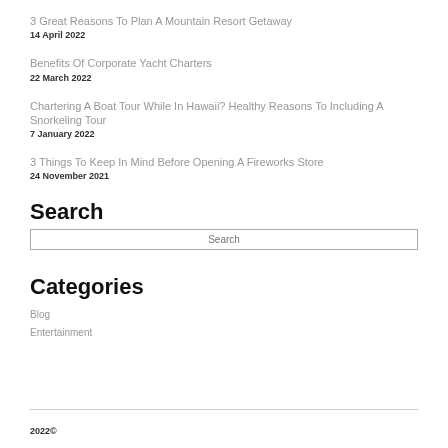3 Great Reasons To Plan A Mountain Resort Getaway
14 April 2022
Benefits Of Corporate Yacht Charters
22 March 2022
Chartering A Boat Tour While In Hawaii? Healthy Reasons To Including A Snorkeling Tour
7 January 2022
3 Things To Keep In Mind Before Opening A Fireworks Store
24 November 2021
Search
Categories
Blog
Entertainment
2022©